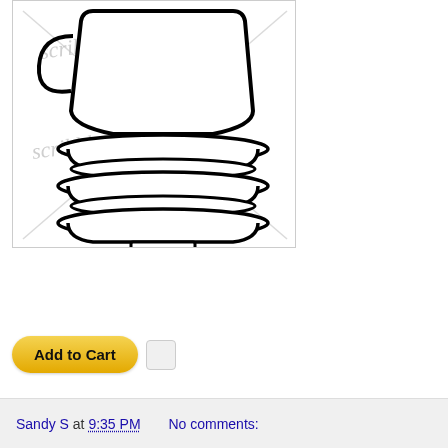[Figure (illustration): Line art drawing of a stacked teacup and saucers set with a watermark reading 'scribblesdesigns' overlaid diagonally in gray script. The image has a gray X-cross watermark across it. The drawing shows a teacup on top of three stacked saucers, all in black outline on white background.]
[Figure (other): Add to Cart button — yellow rounded rectangle button with bold text 'Add to Cart', followed by a small PayPal icon/checkbox]
Sandy S at 9:35 PM    No comments: